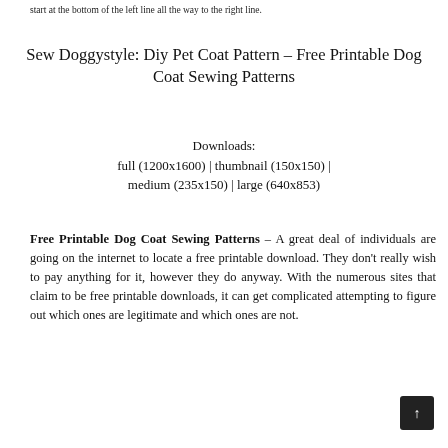start at the bottom of the left line all the way to the right line.
Sew Doggystyle: Diy Pet Coat Pattern – Free Printable Dog Coat Sewing Patterns
Downloads:
full (1200x1600) | thumbnail (150x150) | medium (235x150) | large (640x853)
Free Printable Dog Coat Sewing Patterns – A great deal of individuals are going on the internet to locate a free printable download. They don't really wish to pay anything for it, however they do anyway. With the numerous sites that claim to be free printable downloads, it can get complicated attempting to figure out which ones are legitimate and which ones are not.